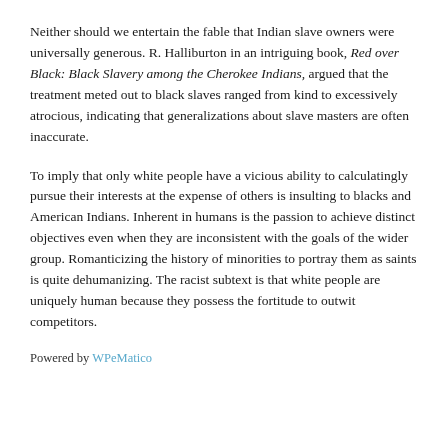Neither should we entertain the fable that Indian slave owners were universally generous. R. Halliburton in an intriguing book, Red over Black: Black Slavery among the Cherokee Indians, argued that the treatment meted out to black slaves ranged from kind to excessively atrocious, indicating that generalizations about slave masters are often inaccurate.
To imply that only white people have a vicious ability to calculatingly pursue their interests at the expense of others is insulting to blacks and American Indians. Inherent in humans is the passion to achieve distinct objectives even when they are inconsistent with the goals of the wider group. Romanticizing the history of minorities to portray them as saints is quite dehumanizing. The racist subtext is that white people are uniquely human because they possess the fortitude to outwit competitors.
Powered by WPeMatico